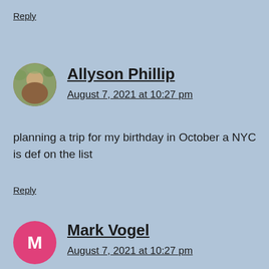Reply
[Figure (photo): Circular avatar photo of Allyson Phillip showing an outdoor scene with a person]
Allyson Phillip
August 7, 2021 at 10:27 pm
planning a trip for my birthday in October a NYC is def on the list
Reply
[Figure (illustration): Circular pink avatar with white letter M for Mark Vogel]
Mark Vogel
August 7, 2021 at 10:27 pm